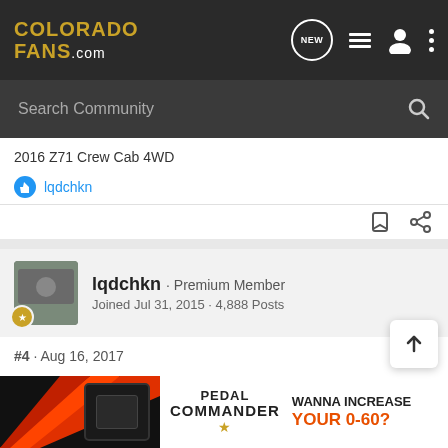COLORADO FANS .COM
Search Community
2016 Z71 Crew Cab 4WD
lqdchkn
lqdchkn · Premium Member
Joined Jul 31, 2015 · 4,888 Posts
#4 · Aug 16, 2017
Has it always been your truck?
You can register with the chevy owners website and it will track your de... mainten...
[Figure (screenshot): Advertisement banner for Pedal Commander - WANNA INCREASE YOUR 0-60?]